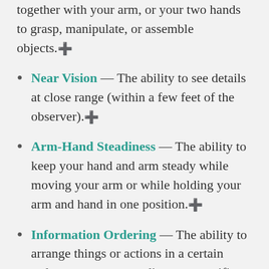together with your arm, or your two hands to grasp, manipulate, or assemble objects.
Near Vision — The ability to see details at close range (within a few feet of the observer).
Arm-Hand Steadiness — The ability to keep your hand and arm steady while moving your arm or while holding your arm and hand in one position.
Information Ordering — The ability to arrange things or actions in a certain order or pattern according to a specific rule or set of rules (e.g., patterns of